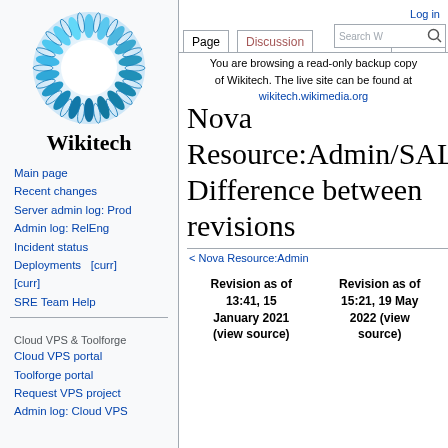[Figure (logo): Wikitech logo: circular blue flower/sunburst pattern with white center, above bold text 'Wikitech']
Main page
Recent changes
Server admin log: Prod
Admin log: RelEng
Incident status
Deployments   [curr] [curr]
SRE Team Help
Cloud VPS & Toolforge
Cloud VPS portal
Toolforge portal
Request VPS project
Admin log: Cloud VPS
Log in
You are browsing a read-only backup copy of Wikitech. The live site can be found at wikitech.wikimedia.org
Nova Resource:Admin/SAL: Difference between revisions
< Nova Resource:Admin
| Revision as of 13:41, 15 January 2021 (view source) | Revision as of 15:21, 19 May 2022 (view source) |
| --- | --- |